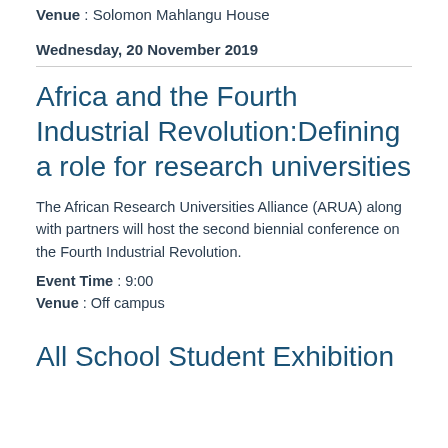Venue : Solomon Mahlangu House
Wednesday, 20 November 2019
Africa and the Fourth Industrial Revolution:Defining a role for research universities
The African Research Universities Alliance (ARUA) along with partners will host the second biennial conference on the Fourth Industrial Revolution.
Event Time : 9:00
Venue : Off campus
All School Student Exhibition